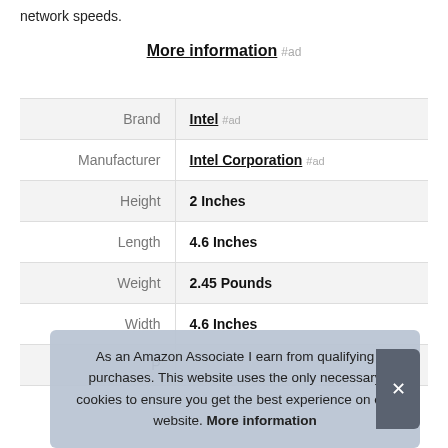network speeds.
More information #ad
|  |  |
| --- | --- |
| Brand | Intel #ad |
| Manufacturer | Intel Corporation #ad |
| Height | 2 Inches |
| Length | 4.6 Inches |
| Weight | 2.45 Pounds |
| Width | 4.6 Inches |
| P |  |
As an Amazon Associate I earn from qualifying purchases. This website uses the only necessary cookies to ensure you get the best experience on our website. More information